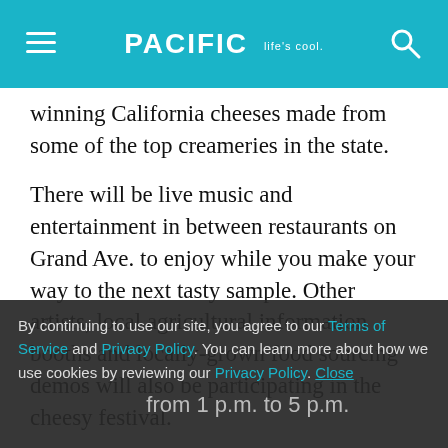PACIFIC Life's cool.
winning California cheeses made from some of the top creameries in the state.
There will be live music and entertainment in between restaurants on Grand Ave. to enjoy while you make your way to the next tasty sample. Other artists, local agricultural information booths and locally-grown food sourcing demos will also be participating in the cheesy festival.
The event is 21-and-up.
... from 1 p.m. to 5 p.m.
By continuing to use our site, you agree to our Terms of Service and Privacy Policy. You can learn more about how we use cookies by reviewing our Privacy Policy. Close